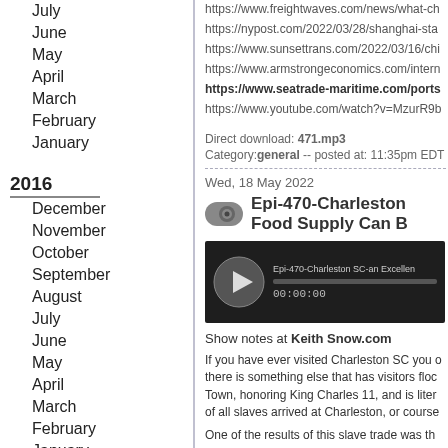July
June
May
April
March
February
January
2016
December
November
October
September
August
July
June
May
April
March
February
January
2015
December
November
October
September
August
July
June
May
April
March
https://www.freightwaves.com/news/what-ch...
https://nypost.com/2022/03/28/shanghai-sta...
https://www.sunsettrans.com/2022/03/16/chi...
https://www.armstrongeconomics.com/intern...
https://www.seatrade-maritime.com/ports...
https://www.youtube.com/watch?v=MzurR9b...
Direct download: 471.mp3
Category: general -- posted at: 11:35pm EDT
Wed, 18 May 2022
Epi-470-Charleston Food Supply Can B...
[Figure (other): Podcast audio player showing Epi-470-Charleston SC episode, 00:00:00]
Show notes at Keith Snow.com
If you have ever visited Charleston SC you o... there is something else that has visitors floc... Town, honoring King Charles 11, and is liter... of all slaves arrived at Charleston, or course...
One of the results of this slave trade was th...